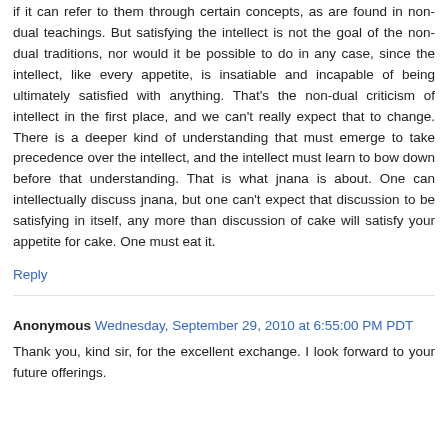if it can refer to them through certain concepts, as are found in non-dual teachings. But satisfying the intellect is not the goal of the non-dual traditions, nor would it be possible to do in any case, since the intellect, like every appetite, is insatiable and incapable of being ultimately satisfied with anything. That's the non-dual criticism of intellect in the first place, and we can't really expect that to change. There is a deeper kind of understanding that must emerge to take precedence over the intellect, and the intellect must learn to bow down before that understanding. That is what jnana is about. One can intellectually discuss jnana, but one can't expect that discussion to be satisfying in itself, any more than discussion of cake will satisfy your appetite for cake. One must eat it.
Reply
Anonymous Wednesday, September 29, 2010 at 6:55:00 PM PDT
Thank you, kind sir, for the excellent exchange. I look forward to your future offerings.